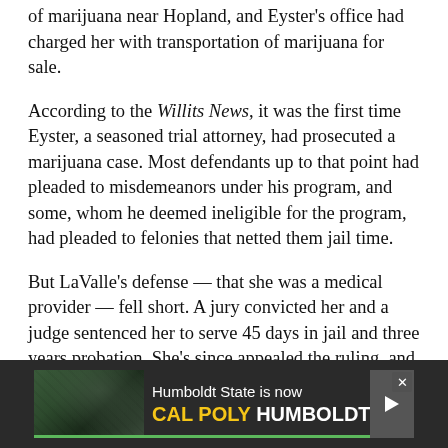of marijuana near Hopland, and Eyster's office had charged her with transportation of marijuana for sale.
According to the Willits News, it was the first time Eyster, a seasoned trial attorney, had prosecuted a marijuana case. Most defendants up to that point had pleaded to misdemeanors under his program, and some, whom he deemed ineligible for the program, had pleaded to felonies that netted them jail time.
But LaValle's defense — that she was a medical provider — fell short. A jury convicted her and a judge sentenced her to serve 45 days in jail and three years probation. She's since appealed the ruling, and her case has been accepted for review by the California Supreme Court.
[Figure (other): Advertisement banner for Cal Poly Humboldt (formerly Humboldt State). Dark background with text 'Humboldt State is now CAL POLY HUMBOLDT' in white and yellow, with a forest/campus image and a play button on the right.]